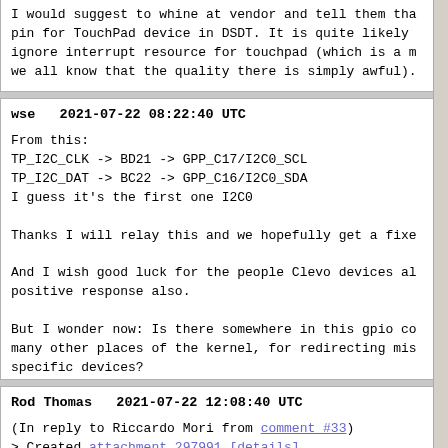I would suggest to whine at vendor and tell them tha pin for TouchPad device in DSDT. It is quite likely ignore interrupt resource for touchpad (which is a m we all know that the quality there is simply awful).
wse   2021-07-22 08:22:40 UTC
From this:
TP_I2C_CLK -> BD21 -> GPP_C17/I2C0_SCL
TP_I2C_DAT -> BC22 -> GPP_C16/I2C0_SDA
I guess it's the first one I2C0

Thanks I will relay this and we hopefully get a fixe

And I wish good luck for the people Clevo devices al positive response also.

But I wonder now: Is there somewhere in this gpio co many other places of the kernel, for redirecting mis specific devices?
Rod Thomas   2021-07-22 12:08:40 UTC
(In reply to Riccardo Mori from comment #33)
> Created attachment 297991 [details]
> dmesg working
>